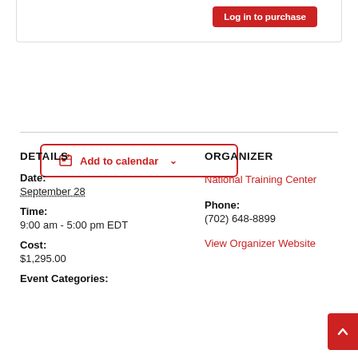Log in to purchase
Add to calendar
DETAILS
ORGANIZER
Date:
September 28
National Training Center
Time:
9:00 am - 5:00 pm EDT
Phone:
(702) 648-8899
View Organizer Website
Cost:
$1,295.00
Event Categories: